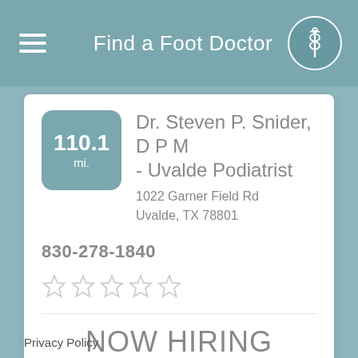Find a Foot Doctor
110.1 mi.
Dr. Steven P. Snider, D P M - Uvalde Podiatrist
1022 Garner Field Rd
Uvalde, TX 78801
830-278-1840
[Figure (other): Five empty/unfilled star rating icons]
NOW HIRING
Podiatrists in Johnson City, TX
Looking for Podiatry jobs in Johnson City? Click Here!
Privacy Policy